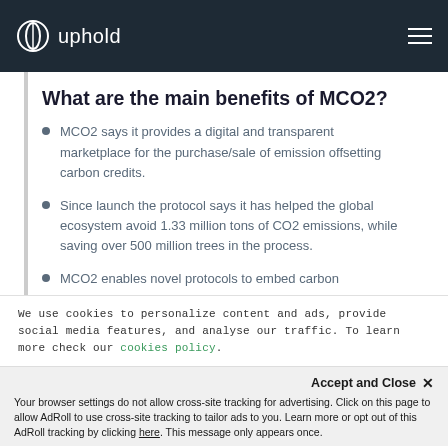uphold
What are the main benefits of MCO2?
MCO2 says it provides a digital and transparent marketplace for the purchase/sale of emission offsetting carbon credits.
Since launch the protocol says it has helped the global ecosystem avoid 1.33 million tons of CO2 emissions, while saving over 500 million trees in the process.
MCO2 enables novel protocols to embed carbon
We use cookies to personalize content and ads, provide social media features, and analyse our traffic. To learn more check our cookies policy.
Accept and Close ✕ Your browser settings do not allow cross-site tracking for advertising. Click on this page to allow AdRoll to use cross-site tracking to tailor ads to you. Learn more or opt out of this AdRoll tracking by clicking here. This message only appears once.